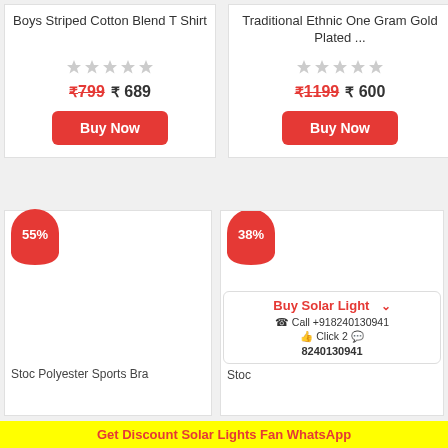Boys Striped Cotton Blend T Shirt
★★★★★ (stars rating)
₹799  ₹ 689
Buy Now
Traditional Ethnic One Gram Gold Plated ...
★★★★★ (stars rating)
₹1199  ₹ 600
Buy Now
55%
Stoc Polyester Sports Bra
38%
Buy Solar Light  ∨
☎ Call +918240130941
👍 Click 2 💬
Stoc 8240130941
Get Discount Solar Lights Fan WhatsApp